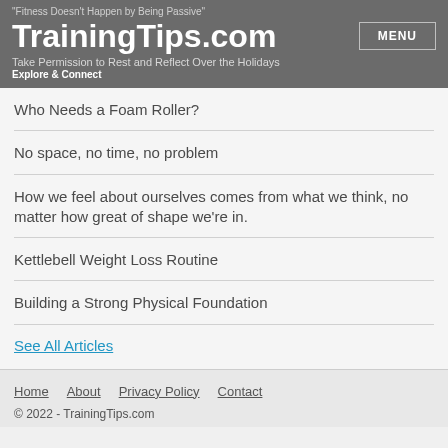"Fitness Doesn't Happen by Being Passive"
TrainingTips.com
Take Permission to Rest and Reflect Over the Holidays
Explore & Connect
Who Needs a Foam Roller?
No space, no time, no problem
How we feel about ourselves comes from what we think, no matter how great of shape we're in.
Kettlebell Weight Loss Routine
Building a Strong Physical Foundation
See All Articles
Home  About  Privacy Policy  Contact
© 2022 - TrainingTips.com